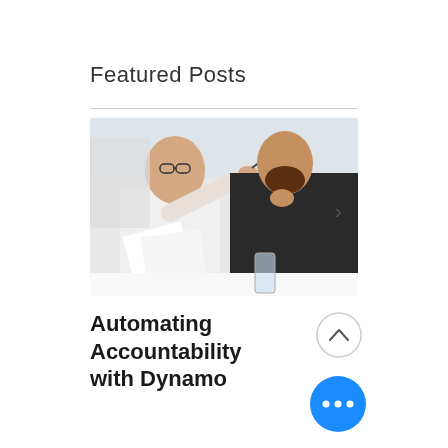Featured Posts
[Figure (photo): Two men in a business setting, one pointing at documents or a screen while the other looks on and touches his chin thoughtfully.]
Automating Accountability with Dynamo